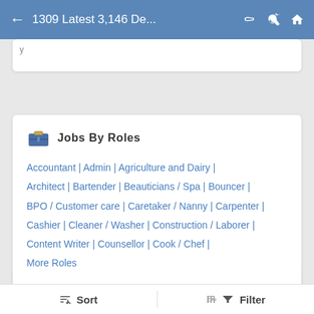1309 Latest 3,146 De...
Jobs By Roles
Accountant | Admin | Agriculture and Dairy | Architect | Bartender | Beauticians / Spa | Bouncer | BPO / Customer care | Caretaker / Nanny | Carpenter | Cashier | Cleaner / Washer | Construction / Laborer | Content Writer | Counsellor | Cook / Chef | More Roles